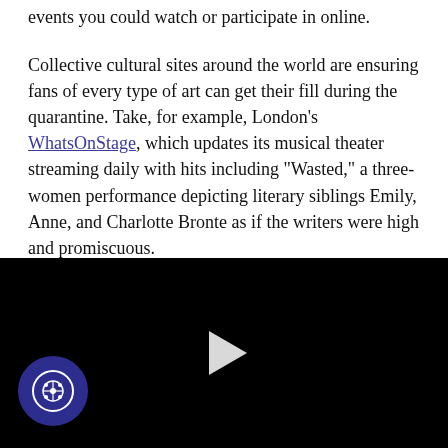events you could watch or participate in online.
Collective cultural sites around the world are ensuring fans of every type of art can get their fill during the quarantine. Take, for example, London's WhatsOnStage, which updates its musical theater streaming daily with hits including “Wasted,” a three-women performance depicting literary siblings Emily, Anne, and Charlotte Bronte as if the writers were high and promiscuous.
For museum lovers, touring London’s most-renowned galleries is an option. From the British Museum’s “A History of the World in 100 Objects” podcast to the Victoria and Albert Museum’s Design a Wig game, there are countless events to engage in
[Figure (other): Black video player area with a white play button triangle in the center, and a circular cookie consent button in the bottom-left corner]